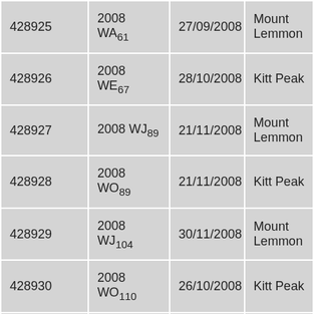| 428925 | 2008 WA₆₁ | 27/09/2008 | Mount Lemmon |
| 428926 | 2008 WE₆₇ | 28/10/2008 | Kitt Peak |
| 428927 | 2008 WJ₈₉ | 21/11/2008 | Mount Lemmon |
| 428928 | 2008 WO₈₉ | 21/11/2008 | Kitt Peak |
| 428929 | 2008 WJ₁₀₄ | 30/11/2008 | Mount Lemmon |
| 428930 | 2008 WO₁₁₀ | 26/10/2008 | Kitt Peak |
| 428931 | 2008 ... | 30/11/2008 | Kitt Peak |